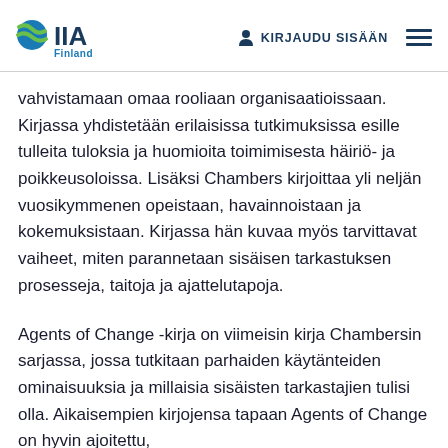IIA Finland | KIRJAUDU SISÄÄN
vahvistamaan omaa rooliaan organisaatioissaan. Kirjassa yhdistetään erilaisissa tutkimuksissa esille tulleita tuloksia ja huomioita toimimisesta häiriö- ja poikkeusoloissa. Lisäksi Chambers kirjoittaa yli neljän vuosikymmenen opeistaan, havainnoistaan ja kokemuksistaan. Kirjassa hän kuvaa myös tarvittavat vaiheet, miten parannetaan sisäisen tarkastuksen prosesseja, taitoja ja ajattelutapoja.
Agents of Change -kirja on viimeisin kirja Chambersin sarjassa, jossa tutkitaan parhaiden käytänteiden ominaisuuksia ja millaisia sisäisten tarkastajien tulisi olla. Aikaisempien kirjojensa tapaan Agents of Change on hyvin ajoitettu,